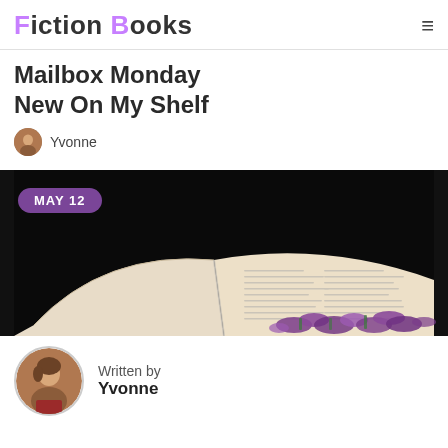Fiction Books
Mailbox Monday New On My Shelf
Yvonne
[Figure (photo): Open book with purple flowers on top, against a dark background, with a date badge overlay reading MAY 12]
Written by Yvonne